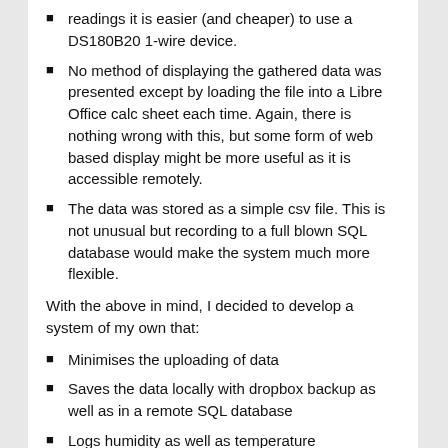readings it is easier (and cheaper) to use a DS180B20 1-wire device.
No method of displaying the gathered data was presented except by loading the file into a Libre Office calc sheet each time. Again, there is nothing wrong with this, but some form of web based display might be more useful as it is accessible remotely.
The data was stored as a simple csv file. This is not unusual but recording to a full blown SQL database would make the system much more flexible.
With the above in mind, I decided to develop a system of my own that:
Minimises the uploading of data
Saves the data locally with dropbox backup as well as in a remote SQL database
Logs humidity as well as temperature
Adds alarm levels when certain temperature limits are exceeded.
Makes provision for controlling some form of heater